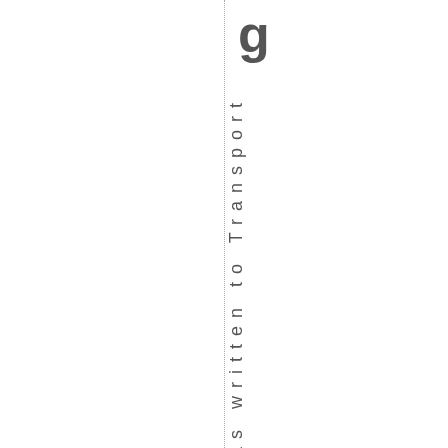g
Spokane has written to Transport